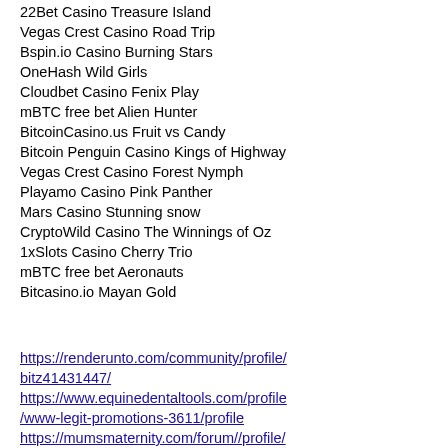22Bet Casino Treasure Island
Vegas Crest Casino Road Trip
Bspin.io Casino Burning Stars
OneHash Wild Girls
Cloudbet Casino Fenix Play
mBTC free bet Alien Hunter
BitcoinCasino.us Fruit vs Candy
Bitcoin Penguin Casino Kings of Highway
Vegas Crest Casino Forest Nymph
Playamo Casino Pink Panther
Mars Casino Stunning snow
CryptoWild Casino The Winnings of Oz
1xSlots Casino Cherry Trio
mBTC free bet Aeronauts
Bitcasino.io Mayan Gold
https://renderunto.com/community/profile/bitz41431447/
https://www.equinedentaltools.com/profile/www-legit-promotions-3611/profile
https://mumsmaternity.com/forum//profile/